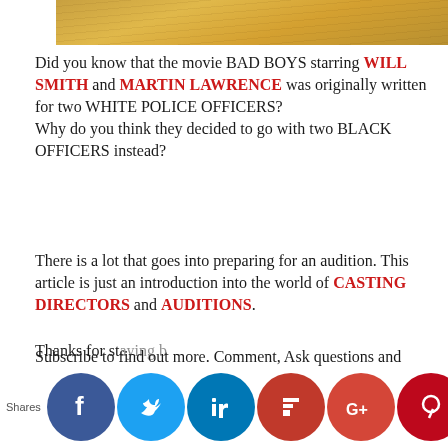[Figure (photo): Top portion of an image with a golden/yellow textured background, partially visible]
Did you know that the movie BAD BOYS starring WILL SMITH and MARTIN LAWRENCE was originally written for two WHITE POLICE OFFICERS? Why do you think they decided to go with two BLACK OFFICERS instead?
There is a lot that goes into preparing for an audition. This article is just an introduction into the world of CASTING DIRECTORS and AUDITIONS.
Subscribe to find out more. Comment, Ask questions and share with those who need this.
Thanks for staying b...
[Figure (infographic): Social media share buttons row: Facebook, Twitter, LinkedIn, Flipboard, Google+, Pinterest, King (blue crown)]